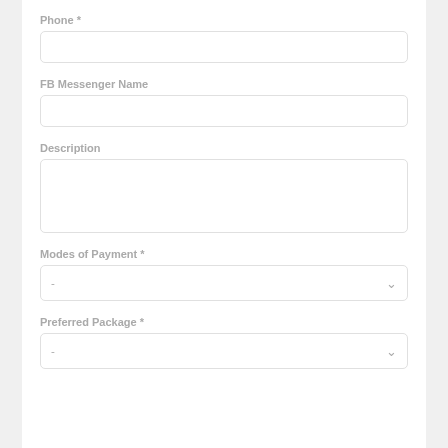Phone *
FB Messenger Name
Description
Modes of Payment *
Preferred Package *